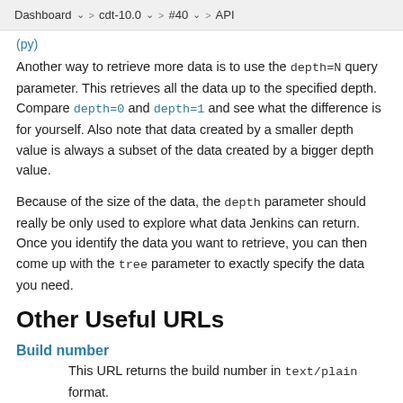Dashboard  ∨  >  cdt-10.0  ∨  >  #40  ∨  >  API
(partial text cut off)
Another way to retrieve more data is to use the depth=N query parameter. This retrieves all the data up to the specified depth. Compare depth=0 and depth=1 and see what the difference is for yourself. Also note that data created by a smaller depth value is always a subset of the data created by a bigger depth value.
Because of the size of the data, the depth parameter should really be only used to explore what data Jenkins can return. Once you identify the data you want to retrieve, you can then come up with the tree parameter to exactly specify the data you need.
Other Useful URLs
Build number
This URL returns the build number in text/plain format.